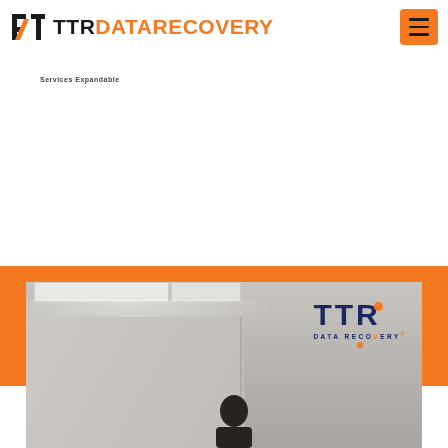TTR DATARECOVERY
Services Expandable
[Figure (photo): TTR Data Recovery office interior with ceiling lights, walls, person silhouette, and TTR Data Recovery logo on wall]
[Figure (logo): TTR Data Recovery logo with orange circle accent on letter R]